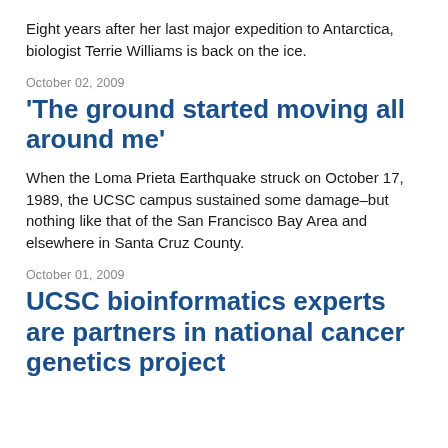Eight years after her last major expedition to Antarctica, biologist Terrie Williams is back on the ice.
October 02, 2009
'The ground started moving all around me'
When the Loma Prieta Earthquake struck on October 17, 1989, the UCSC campus sustained some damage–but nothing like that of the San Francisco Bay Area and elsewhere in Santa Cruz County.
October 01, 2009
UCSC bioinformatics experts are partners in national cancer genetics project